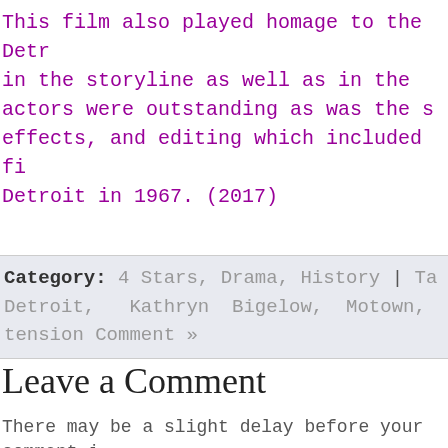This film also played homage to the Detr in the storyline as well as in the actors were outstanding as was the s effects, and editing which included fi Detroit in 1967. (2017)
Category: 4 Stars, Drama, History | Ta Detroit, Kathryn Bigelow, Motown, tension Comment »
Leave a Comment
There may be a slight delay before your comment i